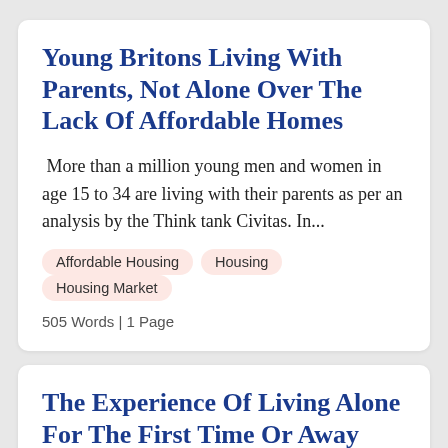Young Britons Living With Parents, Not Alone Over The Lack Of Affordable Homes
More than a million young men and women in age 15 to 34 are living with their parents as per an analysis by the Think tank Civitas. In...
Affordable Housing
Housing
Housing Market
505 Words | 1 Page
The Experience Of Living Alone For The First Time Or Away From Parents